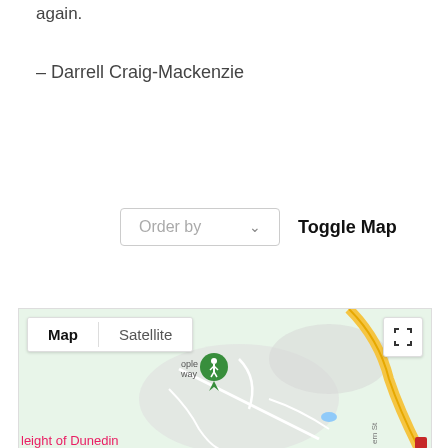again.
– Darrell Craig-Mackenzie
Order by
Toggle Map
[Figure (map): Google Maps view showing a partial map of Dunedin area with Map/Satellite toggle buttons, a green location pin marker, roads including a yellow highway, and pink/red text reading 'height of Dunedin' partially visible at bottom left.]